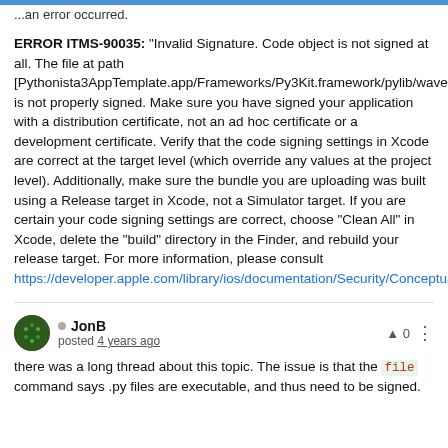...an error occurred.
ERROR ITMS-90035: "Invalid Signature. Code object is not signed at all. The file at path [Pythonista3AppTemplate.app/Frameworks/Py3Kit.framework/pylib/wave.py] is not properly signed. Make sure you have signed your application with a distribution certificate, not an ad hoc certificate or a development certificate. Verify that the code signing settings in Xcode are correct at the target level (which override any values at the project level). Additionally, make sure the bundle you are uploading was built using a Release target in Xcode, not a Simulator target. If you are certain your code signing settings are correct, choose "Clean All" in Xcode, delete the "build" directory in the Finder, and rebuild your release target. For more information, please consult https://developer.apple.com/library/ios/documentation/Security/Conceptual/CodeSigningGuide/Introduction/Introduction.html"
JonB posted 4 years ago
there was a long thread about this topic. The issue is that the file command says .py files are executable, and thus need to be signed.